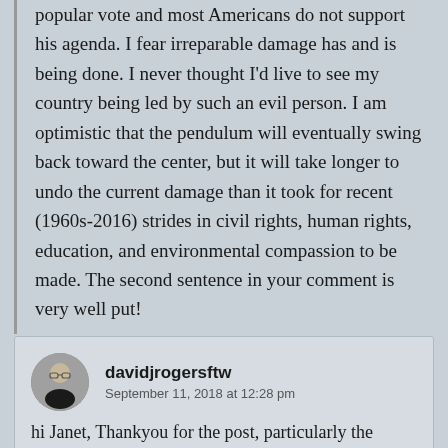popular vote and most Americans do not support his agenda. I fear irreparable damage has and is being done. I never thought I'd live to see my country being led by such an evil person. I am optimistic that the pendulum will eventually swing back toward the center, but it will take longer to undo the current damage than it took for recent (1960s-2016) strides in civil rights, human rights, education, and environmental compassion to be made. The second sentence in your comment is very well put!
Liked by 1 person
davidjrogersftw
September 11, 2018 at 12:28 pm
hi Janet, Thankyou for the post, particularly the